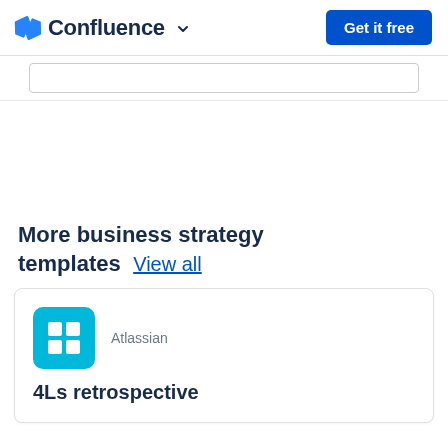Confluence  Get it free
More business strategy templates  View all
Atlassian
4Ls retrospective